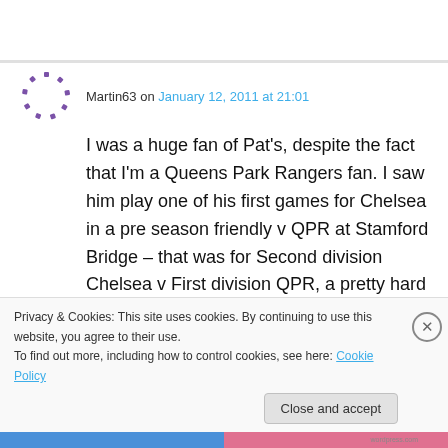Martin63 on January 12, 2011 at 21:01
I was a huge fan of Pat's, despite the fact that I'm a Queens Park Rangers fan. I saw him play one of his first games for Chelsea in a pre season friendly v QPR at Stamford Bridge – that was for Second division Chelsea v First division QPR, a pretty hard concept for anyone under the age of 30 to get their head around I suspect.
Privacy & Cookies: This site uses cookies. By continuing to use this website, you agree to their use.
To find out more, including how to control cookies, see here: Cookie Policy
Close and accept